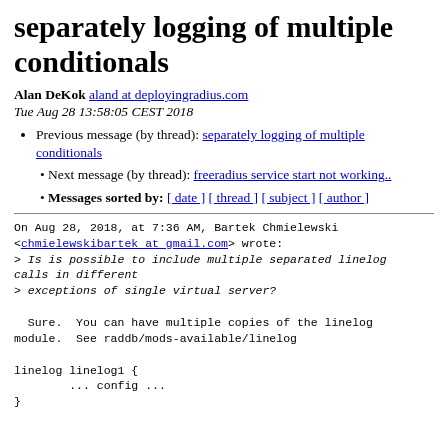separately logging of multiple conditionals
Alan DeKok aland at deployingradius.com
Tue Aug 28 13:58:05 CEST 2018
Previous message (by thread): separately logging of multiple conditionals
Next message (by thread): freeradius service start not working..
Messages sorted by: [ date ] [ thread ] [ subject ] [ author ]
On Aug 28, 2018, at 7:36 AM, Bartek Chmielewski <chmielewskibartek at gmail.com> wrote:
> Is is possible to include multiple separated linelog calls in different
> exceptions of single virtual server?

  Sure.  You can have multiple copies of the linelog
module.  See raddb/mods-available/linelog

linelog linelog1 {
        ... config ...
}